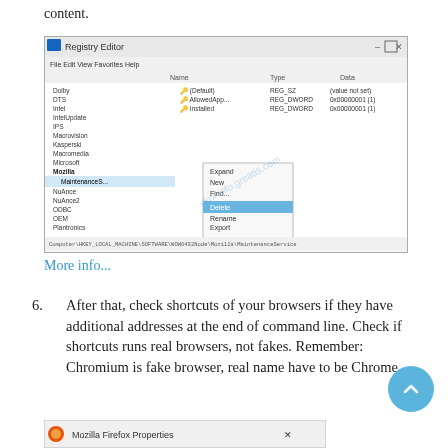content.
[Figure (screenshot): Windows Registry Editor screenshot showing a context menu with 'Delete' option highlighted in blue, under the Mozilla/Maintenance Service registry key path.]
More info...
6. After that, check shortcuts of your browsers if they have additional addresses at the end of command line. Check if shortcuts runs real browsers, not fakes. Remember: Chromium is fake browser, real name have to be Chrome.
[Figure (screenshot): Bottom of page showing partial screenshot of Mozilla Firefox Properties dialog.]